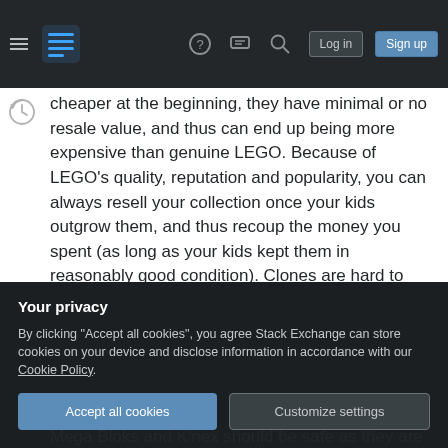Stack Exchange navigation bar with hamburger menu, logo, help, chat, search icons, Log in and Sign up buttons
cheaper at the beginning, they have minimal or no resale value, and thus can end up being more expensive than genuine LEGO. Because of LEGO's quality, reputation and popularity, you can always resell your collection once your kids outgrow them, and thus recoup the money you spent (as long as your kids kept them in reasonably good condition). Clones are hard to even give away, not to speak of selling.
Another thing to consider is safety. LEGO puts
[Figure (screenshot): Privacy cookie consent overlay with title 'Your privacy', description text, Accept all cookies button and Customize settings button]
Mega Bloks and K'nex should be safe as they are